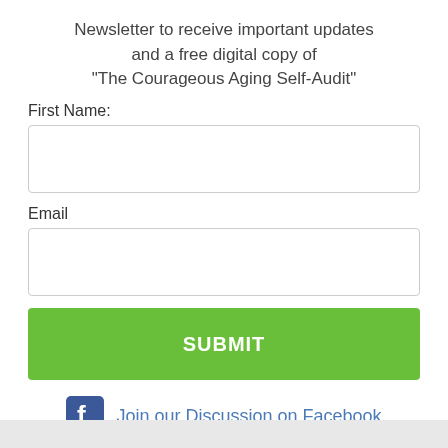Newsletter to receive important updates and a free digital copy of "The Courageous Aging Self-Audit"
First Name:
Email
SUBMIT
[Figure (logo): Facebook logo icon — blue square with white 'f']
Join our Discussion on Facebook